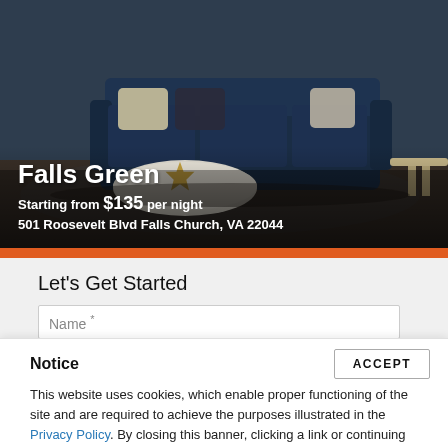[Figure (photo): Interior photo of a living room with a navy blue sofa and pillows, a round white coffee table with a gold star decoration, and a side table on the right. Text overlay shows Falls Green property info.]
Falls Green
Starting from $135 per night
501 Roosevelt Blvd Falls Church, VA 22044
Let's Get Started
Name *
Notice
ACCEPT
This website uses cookies, which enable proper functioning of the site and are required to achieve the purposes illustrated in the Privacy Policy. By closing this banner, clicking a link or continuing to browse otherwise, you agree to the use of cookies.